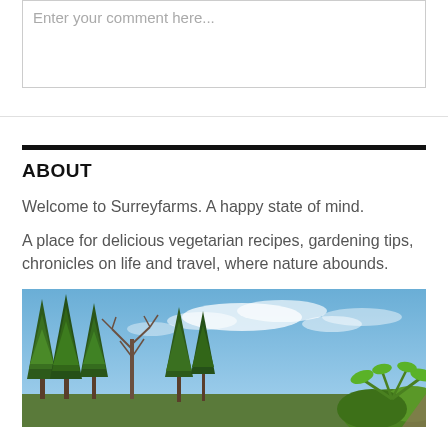Enter your comment here...
ABOUT
Welcome to Surreyfarms. A happy state of mind.
A place for delicious vegetarian recipes, gardening tips, chronicles on life and travel, where nature abounds.
[Figure (photo): Outdoor photo showing tall evergreen trees and bare deciduous trees against a blue sky with wispy clouds, and some tropical foliage in the lower right corner.]